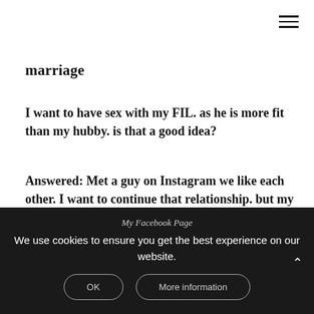marriage
I want to have sex with my FIL. as he is more fit than my hubby. is that a good idea?
Answered: Met a guy on Instagram we like each other. I want to continue that relationship. but my friends
Boyfriend is asking to go to prostitute
My Facebook Page
We use cookies to ensure you get the best experience on our website.
OK
More information